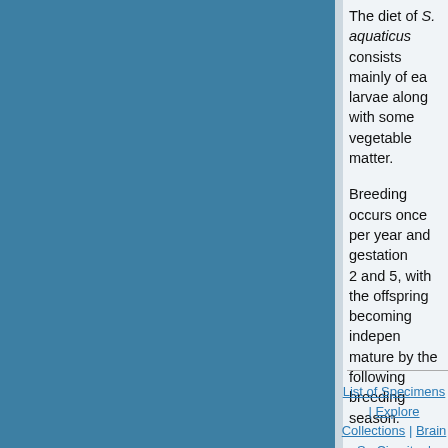The diet of S. aquaticus consists mainly of earthworms and insect larvae along with some vegetable matter.
Breeding occurs once per year and gestation periods range between 2 and 5, with the offspring becoming independent and sexually mature by the following breeding season.
S. aquaticus is found in N Tamaulipas and N... Massachusetts and Minnesota.
Description
Animal source
All specimens collected followed the same pr...
Other Related Resources
List of Specimens | Explore Collections | Brain Se... Circuitry | Brain Functions | Location and Use | Rela... Personn...